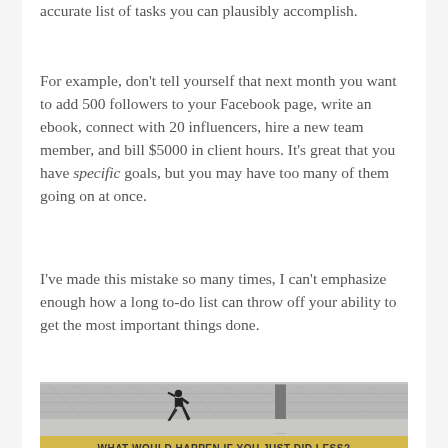accurate list of tasks you can plausibly accomplish.
For example, don't tell yourself that next month you want to add 500 followers to your Facebook page, write an ebook, connect with 20 influencers, hire a new team member, and bill $5000 in client hours. It's great that you have specific goals, but you may have too many of them going on at once.
I've made this mistake so many times, I can't emphasize enough how a long to-do list can throw off your ability to get the most important things done.
[Figure (photo): A silhouette of a person running in what appears to be a modern building or terminal with a geometric ceiling structure. Below the image is a yellow banner with the text: WHAT WOULD HAPPEN IF YOU JUST DID LESS?]